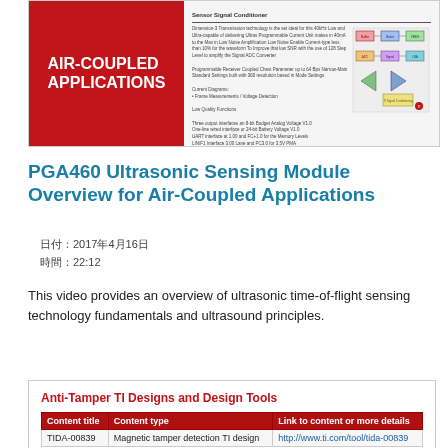[Figure (screenshot): Hero image showing 'AIR-COUPLED APPLICATIONS' text on a red background on the left, and a sensor signal conditioner block diagram document on the right.]
PGA460 Ultrasonic Sensing Module Overview for Air-Coupled Applications
日付: 2017年4月16日
時間: 22:12
This video provides an overview of ultrasonic time-of-flight sensing technology fundamentals and ultrasound principles.
Anti-Tamper TI Designs and Design Tools
| Content title | Content type | Link to content or more details |
| --- | --- | --- |
| TIDA-00839 | Magnetic tamper detection TI design | http://www.ti.com/tool/tida-00839 |